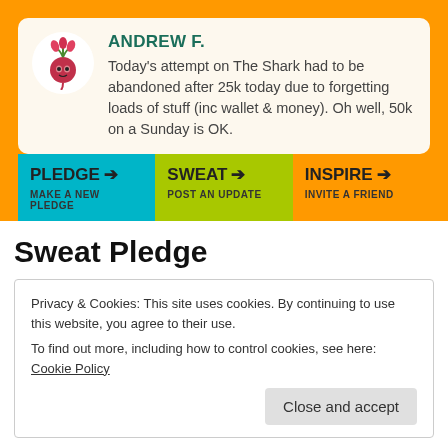[Figure (screenshot): Orange banner at top of page (partial, clipped)]
ANDREW F.
Today's attempt on The Shark had to be abandoned after 25k today due to forgetting loads of stuff (inc wallet & money). Oh well, 50k on a Sunday is OK.
PLEDGE → MAKE A NEW PLEDGE
SWEAT → POST AN UPDATE
INSPIRE → INVITE A FRIEND
Sweat Pledge
Privacy & Cookies: This site uses cookies. By continuing to use this website, you agree to their use.
To find out more, including how to control cookies, see here: Cookie Policy
Close and accept